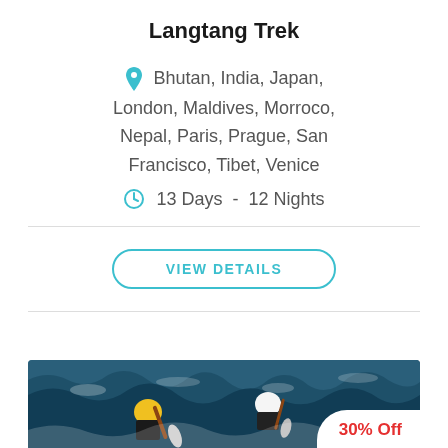Langtang Trek
Bhutan, India, Japan, London, Maldives, Morroco, Nepal, Paris, Prague, San Francisco, Tibet, Venice
13 Days - 12 Nights
VIEW DETAILS
[Figure (photo): Whitewater rafting scene with paddlers in rough water; badge showing '30% Off']